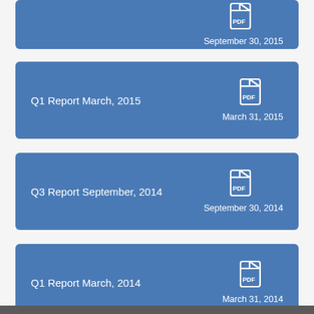September 30, 2015
Q1 Report March, 2015 — March 31, 2015
Q3 Report September, 2014 — September 30, 2014
Q1 Report March, 2014 — March 31, 2014